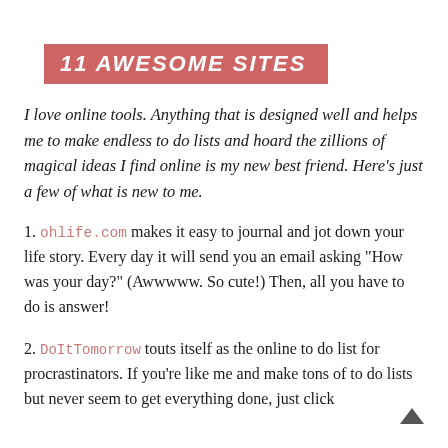11 AWESOME SITES
I love online tools. Anything that is designed well and helps me to make endless to do lists and hoard the zillions of magical ideas I find online is my new best friend. Here's just a few of what is new to me.
1. ohlife.com makes it easy to journal and jot down your life story. Every day it will send you an email asking "How was your day?" (Awwwww. So cute!) Then, all you have to do is answer!
2. DoItTomorrow touts itself as the online to do list for procrastinators. If you're like me and make tons of to do lists but never seem to get everything done, just click